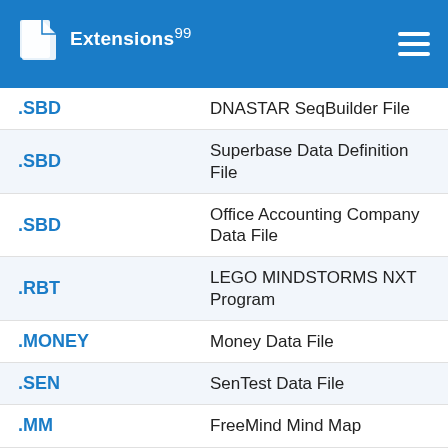Extensions 99
| Extension | Description |
| --- | --- |
| .SBD | DNASTAR SeqBuilder File |
| .SBD | Superbase Data Definition File |
| .SBD | Office Accounting Company Data File |
| .RBT | LEGO MINDSTORMS NXT Program |
| .MONEY | Money Data File |
| .SEN | SenTest Data File |
| .MM | FreeMind Mind Map |
| .XBT | SMART Notebook Template File |
| .MAT | MATLAB MAT-File |
| .AAN | Pro Tools Elastic Audio Analysis File |
| .GWK | GraphiCode PCB Job File |